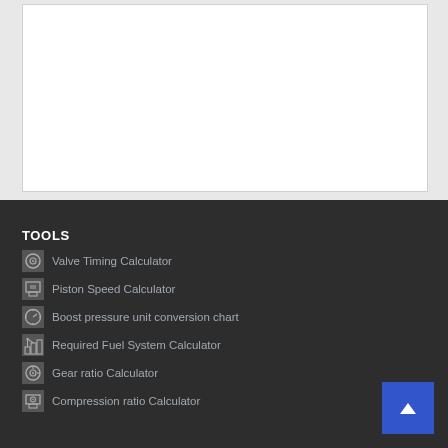[Figure (other): White content card area on light grey background (top section of page, content not visible)]
TOOLS
Valve Timing Calculator
Piston Speed Calculator
Boost pressure unit conversion chart
Required Fuel System Calculator
Gear ratio Calculator
Compression ratio Calculator